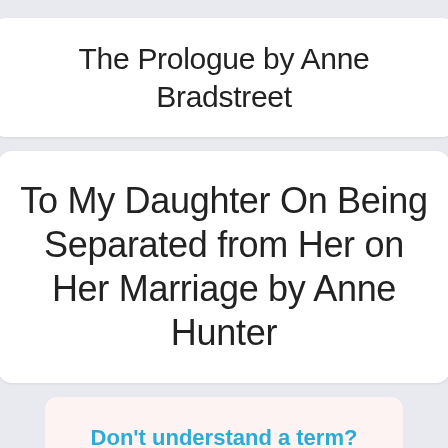The Prologue by Anne Bradstreet
To My Daughter On Being Separated from Her on Her Marriage by Anne Hunter
Don't understand a term?
Visit our Glossary